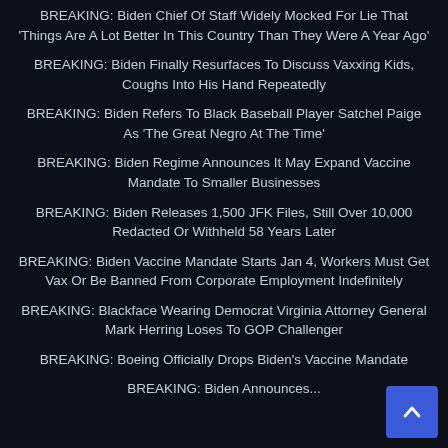BREAKING: Biden Chief Of Staff Widely Mocked For Lie That 'Things Are A Lot Better In This Country Than They Were A Year Ago'
BREAKING: Biden Finally Resurfaces To Discuss Vaxxing Kids, Coughs Into His Hand Repeatedly
BREAKING: Biden Refers To Black Baseball Player Satchel Paige As 'The Great Negro At The Time'
BREAKING: Biden Regime Announces It May Expand Vaccine Mandate To Smaller Businesses
BREAKING: Biden Releases 1,500 JFK Files, Still Over 10,000 Redacted Or Withheld 58 Years Later
BREAKING: Biden Vaccine Mandate Starts Jan 4, Workers Must Get Vax Or Be Banned From Corporate Employment Indefinitely
BREAKING: Blackface Wearing Democrat Virginia Attorney General Mark Herring Loses To GOP Challenger
BREAKING: Boeing Officially Drops Biden's Vaccine Mandate
BREAKING: Biden Announces Vaccine Requirement For...